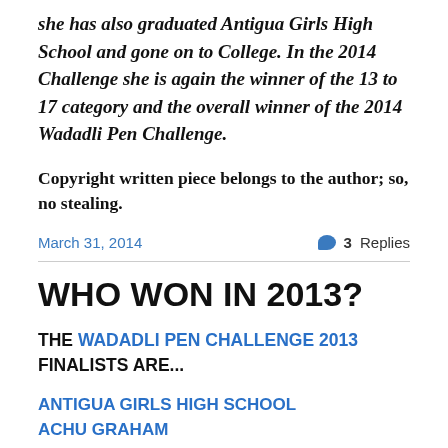she has also graduated Antigua Girls High School and gone on to College. In the 2014 Challenge she is again the winner of the 13 to 17 category and the overall winner of the 2014 Wadadli Pen Challenge.
Copyright written piece belongs to the author; so, no stealing.
March 31, 2014   💬 3 Replies
WHO WON IN 2013?
THE WADADLI PEN CHALLENGE 2013 FINALISTS ARE...
ANTIGUA GIRLS HIGH SCHOOL
ACHU GRAHAM